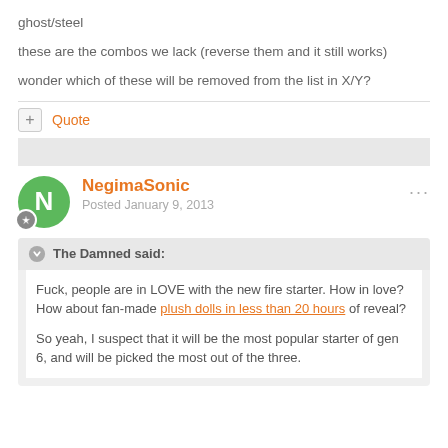ghost/steel
these are the combos we lack (reverse them and it still works)
wonder which of these will be removed from the list in X/Y?
Quote
NegimaSonic
Posted January 9, 2013
The Damned said:
Fuck, people are in LOVE with the new fire starter. How in love? How about fan-made plush dolls in less than 20 hours of reveal?
So yeah, I suspect that it will be the most popular starter of gen 6, and will be picked the most out of the three.